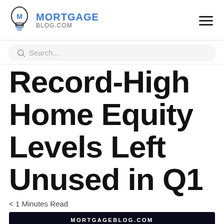MORTGAGE BLOG.COM
Search...
Record-High Home Equity Levels Left Unused in Q1
< 1 Minutes Read
[Figure (screenshot): Partial view of mortgageblog.com article image with dark background showing MORTGAGEBLOG.COM text and decorative icons]